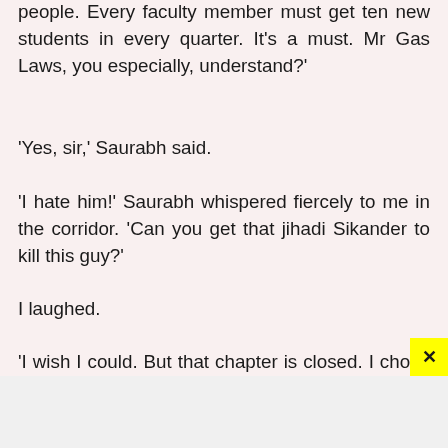people. Every faculty member must get ten new students in every quarter. It’s a must. Mr Gas Laws, you especially, understand?’
‘Yes, sir,’ Saurabh said.
‘I hate him!’ Saurabh whispered fiercely to me in the corridor. ‘Can you get that jihadi Sikander to kill this guy?’
I laughed.
‘I wish I could. But that chapter is closed. I chose my brother,’ I said, ruffling his hair.
‘She responded?’ Saurabh said.
‘Yeah. In fact, she wrote to me first,’ I said. I stared at my phone, still trying to make sense o